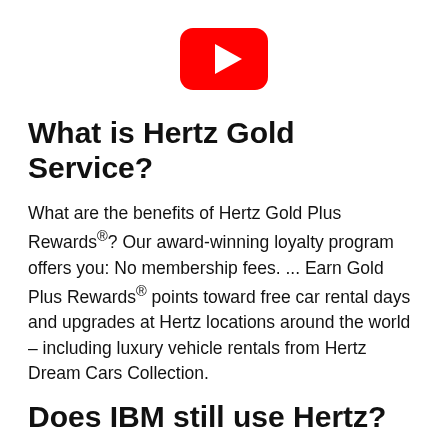[Figure (logo): YouTube play button logo — red rounded rectangle with white triangle pointing right]
What is Hertz Gold Service?
What are the benefits of Hertz Gold Plus Rewards®? Our award-winning loyalty program offers you: No membership fees. ... Earn Gold Plus Rewards® points toward free car rental days and upgrades at Hertz locations around the world – including luxury vehicle rentals from Hertz Dream Cars Collection.
Does IBM still use Hertz?